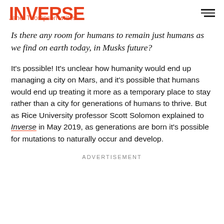INVERSE — Janet Thompson writes:
Is there any room for humans to remain just humans as we find on earth today, in Musks future?
It's possible! It's unclear how humanity would end up managing a city on Mars, and it's possible that humans would end up treating it more as a temporary place to stay rather than a city for generations of humans to thrive. But as Rice University professor Scott Solomon explained to Inverse in May 2019, as generations are born it's possible for mutations to naturally occur and develop.
ADVERTISEMENT